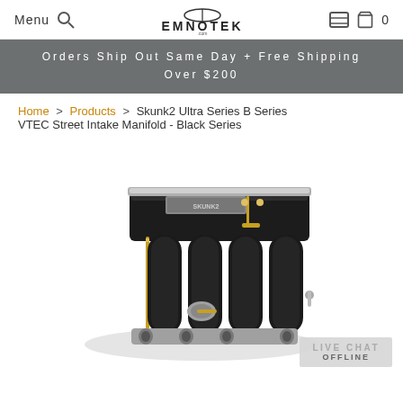Menu | Search | EMNOTEK | 0
Orders Ship Out Same Day + Free Shipping Over $200
Home > Products > Skunk2 Ultra Series B Series VTEC Street Intake Manifold - Black Series
[Figure (photo): Skunk2 Ultra Series B Series VTEC Street Intake Manifold in Black Series finish, shown at an angle displaying four intake runners with polished flanges and gold/chrome hardware on a white background.]